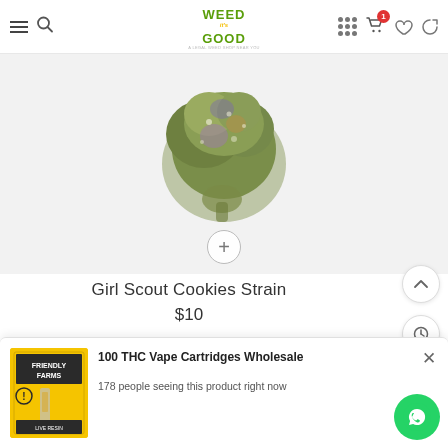WeedItGood navigation header with menu, search, logo, grid, cart (1), wishlist, refresh icons
[Figure (photo): Close-up photo of Girl Scout Cookies cannabis flower bud on white/light grey background]
Girl Scout Cookies Strain
$10
[Figure (photo): Popup advertisement showing Friendly Farms THC Vape Cartridge product image on yellow background]
100 THC Vape Cartridges Wholesale
178 people seeing this product right now